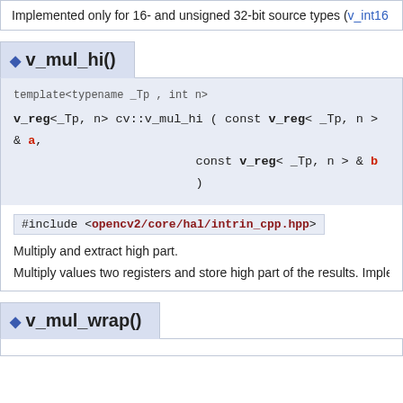Implemented only for 16- and unsigned 32-bit source types (v_int16
◆ v_mul_hi()
template<typename _Tp , int n>
v_reg<_Tp, n> cv::v_mul_hi ( const v_reg< _Tp, n > & a, const v_reg< _Tp, n > & b )
#include <opencv2/core/hal/intrin_cpp.hpp>
Multiply and extract high part.
Multiply values two registers and store high part of the results. Imple
◆ v_mul_wrap()